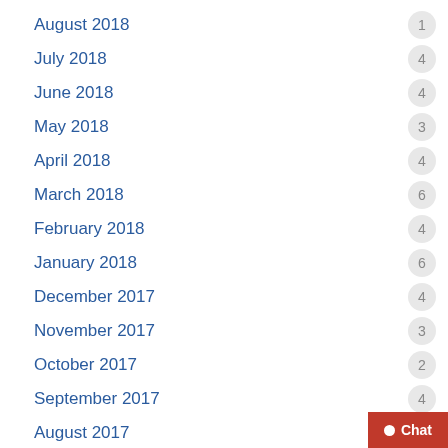August 2018 — 1
July 2018 — 4
June 2018 — 4
May 2018 — 3
April 2018 — 4
March 2018 — 6
February 2018 — 4
January 2018 — 6
December 2017 — 4
November 2017 — 3
October 2017 — 2
September 2017 — 4
August 2017 — 4
July 2017 — 4
June 2017 — 2
May 2017 — 1
April 2017 — 3
March 2017 — 4
February 2017 — (Chat button overlay)
January 2017 — 5 (partially visible)